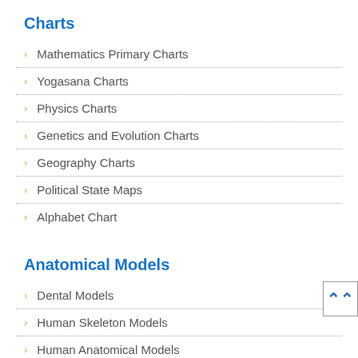Charts
Mathematics Primary Charts
Yogasana Charts
Physics Charts
Genetics and Evolution Charts
Geography Charts
Political State Maps
Alphabet Chart
Anatomical Models
Dental Models
Human Skeleton Models
Human Anatomical Models
Educational Models